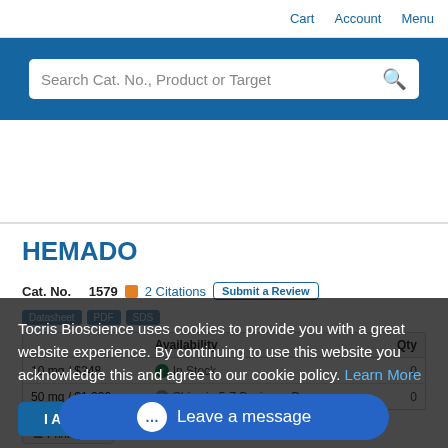Cart  Account  Menu
Search Cat. No., Product or Target
HEMADO
Cat. No. 1579  2 Citations  Submit a Review
Datasheet PDF SDS
|  | Availability | Qty |
| --- | --- | --- |
| 10 mg / $248 | In Stock | 0 |
| 50 mg / $1,020 | Ships in 5-7 Business Days | 0 |
Print Quo...
Tocris Bioscience uses cookies to provide you with a great website experience. By continuing to use this website you acknowledge this and agree to our cookie policy. Learn More
I Agree
Leave a message